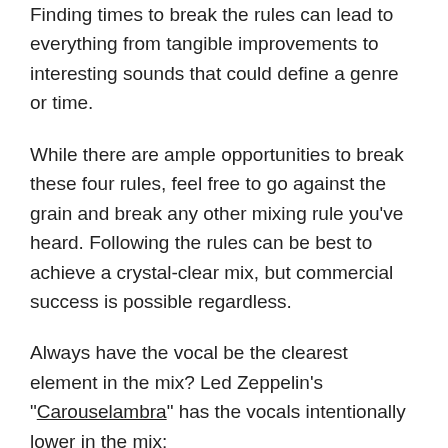Finding times to break the rules can lead to everything from tangible improvements to interesting sounds that could define a genre or time.
While there are ample opportunities to break these four rules, feel free to go against the grain and break any other mixing rule you’ve heard. Following the rules can be best to achieve a crystal-clear mix, but commercial success is possible regardless.
Always have the vocal be the clearest element in the mix? Led Zeppelin’s “Carouselambra” has the vocals intentionally lower in the mix:
Always pan the snare center? Tell that to Tyler, the Creator on “Yonkers,” who pans it pretty hard left. Be creative, be bold, think outside the box and your mixes